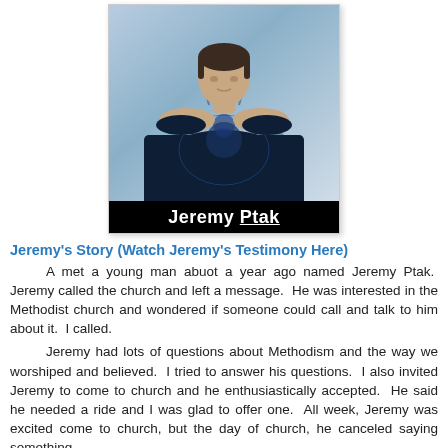[Figure (photo): Photo of Jeremy Ptak, a man wearing a black t-shirt with a Native American skull and wolf graphic design. The image has a black background bar at the bottom with the name 'Jeremy Ptak' in white text.]
Jeremy's Story (Watch Jeremy's Testimony Here)
A met a young man abuot a year ago named Jeremy Ptak.  Jeremy called the church and left a message.  He was interested in the Methodist church and wondered if someone could call and talk to him about it.  I called.

Jeremy had lots of questions about Methodism and the way we worshiped and believed.  I tried to answer his questions.  I also invited Jeremy to come to church and he enthusiastically accepted.  He said he needed a ride and I was glad to offer one.  All week, Jeremy was excited come to church, but the day of church, he canceled saying something